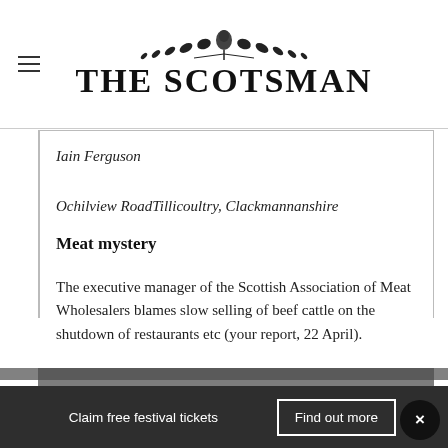THE SCOTSMAN
Iain Ferguson
Ochilview RoadTillicoultry, Clackmannanshire
Meat mystery
The executive manager of the Scottish Association of Meat Wholesalers blames slow selling of beef cattle on the shutdown of restaurants etc (your report, 22 April).
Claim free festival tickets   Find out more